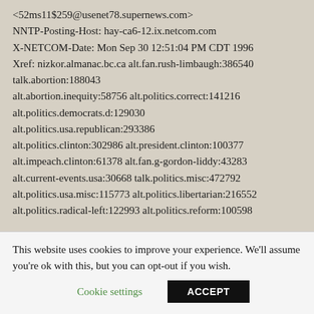<52ms11$259@usenet78.supernews.com>
NNTP-Posting-Host: hay-ca6-12.ix.netcom.com
X-NETCOM-Date: Mon Sep 30 12:51:04 PM CDT 1996
Xref: nizkor.almanac.bc.ca alt.fan.rush-limbaugh:386540 talk.abortion:188043
alt.abortion.inequity:58756 alt.politics.correct:141216 alt.politics.democrats.d:129030
alt.politics.usa.republican:293386
alt.politics.clinton:302986 alt.president.clinton:100377
alt.impeach.clinton:61378 alt.fan.g-gordon-liddy:43283
alt.current-events.usa:30668 talk.politics.misc:472792
alt.politics.usa.misc:115773 alt.politics.libertarian:216552
alt.politics.radical-left:122993 alt.politics.reform:100598
This website uses cookies to improve your experience. We'll assume you're ok with this, but you can opt-out if you wish.